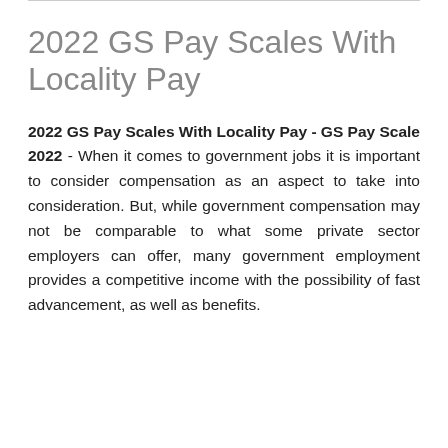2022 GS Pay Scales With Locality Pay
2022 GS Pay Scales With Locality Pay - GS Pay Scale 2022 - When it comes to government jobs it is important to consider compensation as an aspect to take into consideration. But, while government compensation may not be comparable to what some private sector employers can offer, many government employment provides a competitive income with the possibility of fast advancement, as well as benefits.